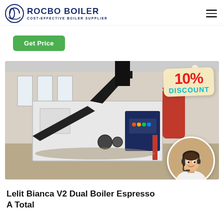ROCBO BOILER — COST-EFFECTIVE BOILER SUPPLIER
Get Price
[Figure (photo): Industrial boiler equipment in a factory setting with black exhaust pipe, dark blue boiler unit, and red cylindrical tank. Overlaid with a '10% DISCOUNT' badge and a circular inset photo of a female customer service agent with headset.]
Lelit Bianca V2 Dual Boiler Espresso A Total